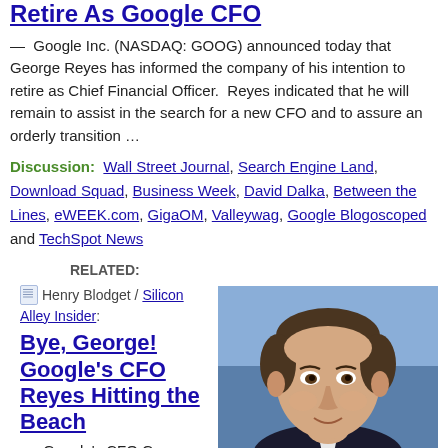Retire As Google CFO
— Google Inc. (NASDAQ: GOOG) announced today that George Reyes has informed the company of his intention to retire as Chief Financial Officer. Reyes indicated that he will remain to assist in the search for a new CFO and to assure an orderly transition …
Discussion: Wall Street Journal, Search Engine Land, Download Squad, Business Week, David Dalka, Between the Lines, eWEEK.com, GigaOM, Valleywag, Google Blogoscoped and TechSpot News
RELATED:
Henry Blodget / Silicon Alley Insider:
Bye, George! Google's CFO Reyes Hitting the Beach
[Figure (photo): Headshot photo of George Reyes, Google CFO, in front of blue background]
— Google's CFO George Reyes is calling it quits after a spectacular five years at the Googleplex. Among other